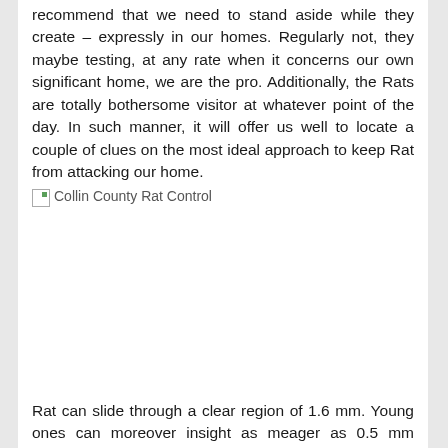recommend that we need to stand aside while they create – expressly in our homes. Regularly not, they maybe testing, at any rate when it concerns our own significant home, we are the pro. Additionally, the Rats are totally bothersome visitor at whatever point of the day. In such manner, it will offer us well to locate a couple of clues on the most ideal approach to keep Rat from attacking our home.
[Figure (photo): Broken image placeholder with alt text 'Collin County Rat Control']
Rat can slide through a clear region of 1.6 mm. Young ones can moreover insight as meager as 0.5 mm opportunity